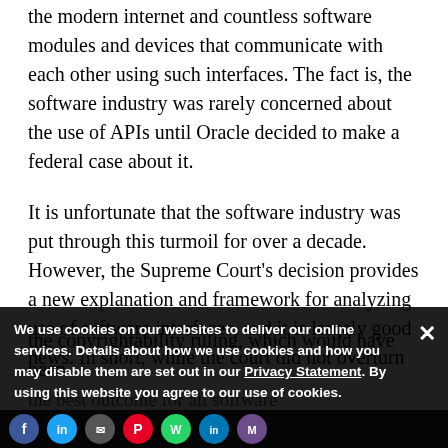the modern internet and countless software modules and devices that communicate with each other using such interfaces. The fact is, the software industry was rarely concerned about the use of APIs until Oracle decided to make a federal case about it.
It is unfortunate that the software industry was put through this turmoil for over a decade. However, the Supreme Court's decision provides a new explanation and framework for analyzing use of software interfaces, and it is largely good news. In short, while the court did not overturn the copyrightability ruling, which would have been the best outcome for all software developers, it rul... whether Google...
We use cookies on our websites to deliver our online services. Details about how we use cookies and how you may disable them are set out in our Privacy Statement. By using this website you agree to our use of cookies.